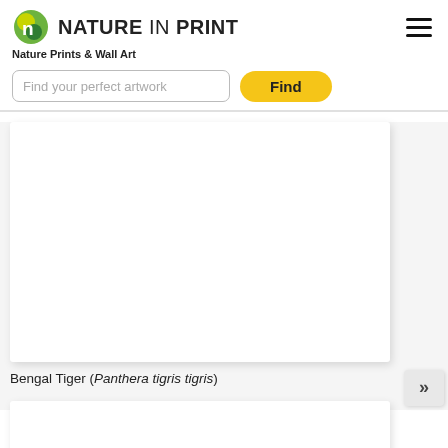NATURE IN PRINT
Nature Prints & Wall Art
Find your perfect artwork
Find
[Figure (photo): White blank product image card for Bengal Tiger print]
Bengal Tiger (Panthera tigris tigris)
[Figure (photo): White blank product image card for second item]